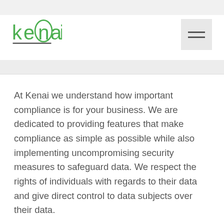kenai [logo with hamburger menu]
At Kenai we understand how important compliance is for your business. We are dedicated to providing features that make compliance as simple as possible while also implementing uncompromising security measures to safeguard data. We respect the rights of individuals with regards to their data and give direct control to data subjects over their data.
Got It  This website uses cookies to improve your experience. Learn More